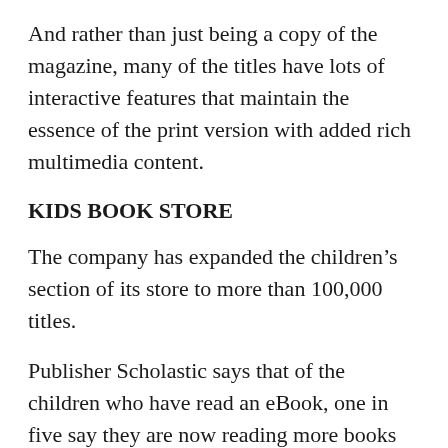And rather than just being a copy of the magazine, many of the titles have lots of interactive features that maintain the essence of the print version with added rich multimedia content.
KIDS BOOK STORE
The company has expanded the children's section of its store to more than 100,000 titles.
Publisher Scholastic says that of the children who have read an eBook, one in five say they are now reading more books just for fun.
Almost half of the children aged six to 17 said they would read even more books for fun if they had greater access to eBooks.
The new Kobo devices will be available from September 16